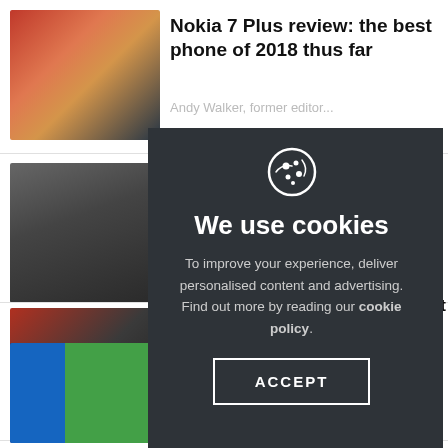Nokia 7 Plus review: the best phone of 2018 thus far
[Figure (screenshot): Thumbnail image of Nokia 7 Plus phone with red/orange gradient background]
[Figure (screenshot): Thumbnail image of phones on dark background]
[Figure (screenshot): Thumbnail image of person taking photo with phone]
[Figure (infographic): Cookie consent modal overlay with dark background showing cookie icon, 'We use cookies' heading, description text, and ACCEPT button]
Nokia X6 specs and price spotted on Chinese retailer's website
Andy Walker, former editor
NOKIA · 15 May 2018